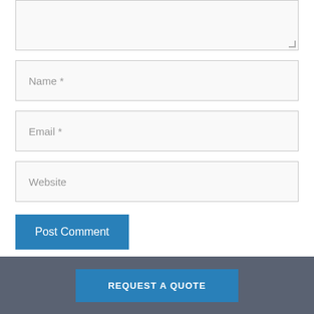[Figure (screenshot): Textarea input box (partially visible at top, with resize handle in bottom-right corner)]
Name *
Email *
Website
Post Comment
REQUEST A QUOTE